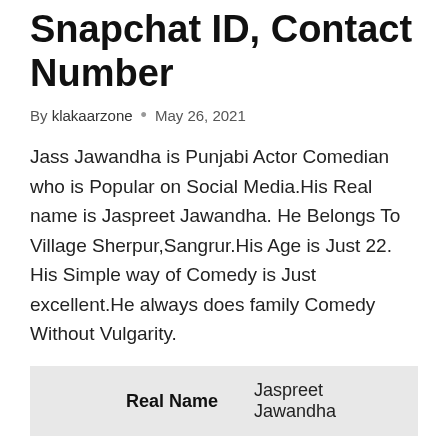Snapchat ID, Contact Number
By klakaarzone • May 26, 2021
Jass Jawandha is Punjabi Actor Comedian who is Popular on Social Media.His Real name is Jaspreet Jawandha. He Belongs To Village Sherpur,Sangrur.His Age is Just 22. His Simple way of Comedy is Just excellent.He always does family Comedy Without Vulgarity.
| Label | Value |
| --- | --- |
| Real Name | Jaspreet Jawandha |
| Hometown | Sherpur Village,Sangrur |